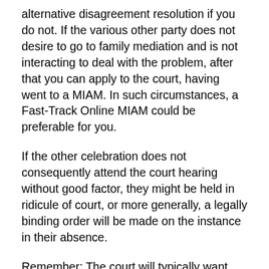alternative disagreement resolution if you do not. If the various other party does not desire to go to family mediation and is not interacting to deal with the problem, after that you can apply to the court, having went to a MIAM. In such circumstances, a Fast-Track Online MIAM could be preferable for you.
If the other celebration does not consequently attend the court hearing without good factor, they might be held in ridicule of court, or more generally, a legally binding order will be made on the instance in their absence.
Remember: The court will typically want you to explain why you have not participated in family mediation if you have actually been asked to go. If you do not go to mediation, see below for